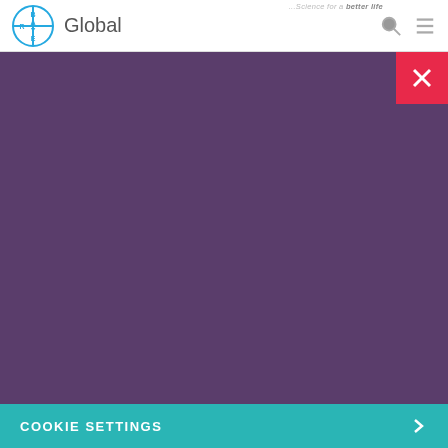Bayer Global — Science for a better life
Usage of Cookies
We would like to use optional cookies to better understand your use of this website, to improve our website and to share information with our advertising partners. Your consent also covers the transfer of your Personal Data in unsafe third countries, involving the risk that public authorities may access your Personal Data for surveillance and other purposes w/o effective remedies. Detailed information about the use of strictly necessary cookies, which are essential to browse this website, and optional cookies, which you can reject or accept below, and how you can manage or withdraw your consent at any time can be found in our Privacy Statement.
COOKIE SETTINGS